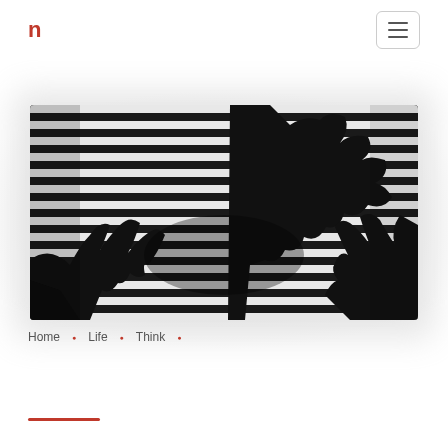n | navigation menu
[Figure (photo): Black and white photograph of two pairs of hands silhouetted against horizontal venetian blinds, reaching toward each other. High contrast monochrome image.]
Home • Life • Think •